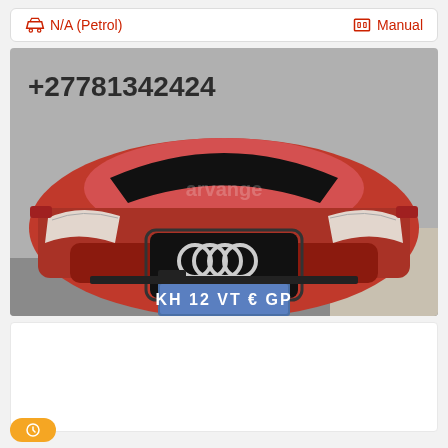N/A (Petrol)
Manual
[Figure (photo): Front view of a red Audi RS7 with license plate KH 12 VT GP and phone number +27781342424 watermarked at top]